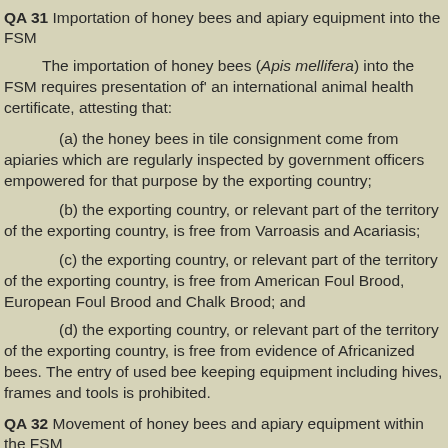QA 31 Importation of honey bees and apiary equipment into the FSM
The importation of honey bees (Apis mellifera) into the FSM requires presentation of' an international animal health certificate, attesting that:
(a) the honey bees in tile consignment come from apiaries which are regularly inspected by government officers empowered for that purpose by the exporting country;
(b) the exporting country, or relevant part of the territory of the exporting country, is free from Varroasis and Acariasis;
(c) the exporting country, or relevant part of the territory of the exporting country, is free from American Foul Brood, European Foul Brood and Chalk Brood; and
(d) the exporting country, or relevant part of the territory of the exporting country, is free from evidence of Africanized bees. The entry of used bee keeping equipment including hives, frames and tools is prohibited.
QA 32 Movement of honey bees and apiary equipment within the FSM